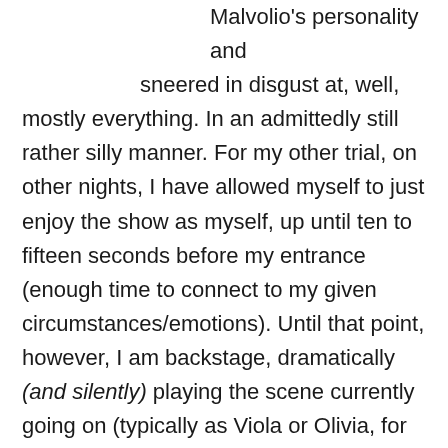Malvolio's personality and sneered in disgust at, well, mostly everything. In an admittedly still rather silly manner. For my other trial, on other nights, I have allowed myself to just enjoy the show as myself, up until ten to fifteen seconds before my entrance (enough time to connect to my given circumstances/emotions). Until that point, however, I am backstage, dramatically (and silently) playing the scene currently going on (typically as Viola or Olivia, for added humour), or (again, silently) tittering at silly castmember antics, or just generally (silently) giggling to myself. Then